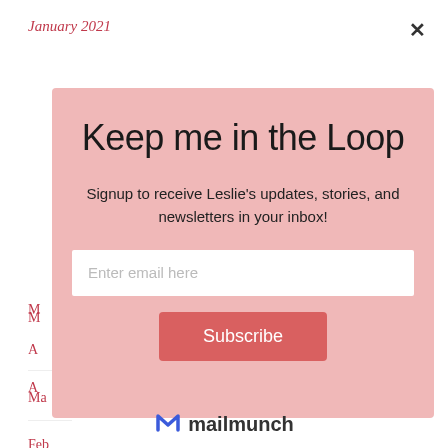January 2021
[Figure (screenshot): Email newsletter signup modal popup with pink background. Title: 'Keep me in the Loop'. Subtitle: 'Signup to receive Leslie's updates, stories, and newsletters in your inbox!'. Email input field and Subscribe button. Mailmunch branding at bottom.]
Keep me in the Loop
Signup to receive Leslie's updates, stories, and newsletters in your inbox!
Enter email here
Subscribe
mailmunch